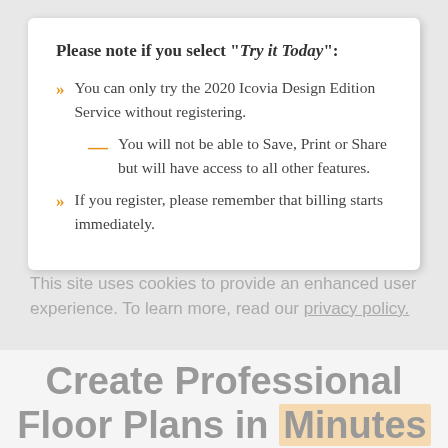Please note if you select "Try it Today":
You can only try the 2020 Icovia Design Edition Service without registering.
You will not be able to Save, Print or Share but will have access to all other features.
If you register, please remember that billing starts immediately.
This site uses cookies to provide an enhanced user experience. To learn more, read our privacy policy.
Create Professional Floor Plans in Minutes
Design a room or create an entire house plan.